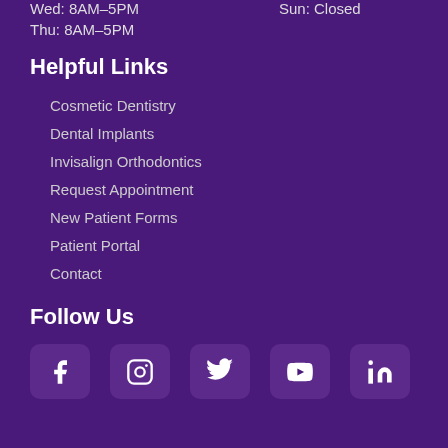Wed: 8AM–5PM    Sun: Closed
Thu: 8AM–5PM
Helpful Links
Cosmetic Dentistry
Dental Implants
Invisalign Orthodontics
Request Appointment
New Patient Forms
Patient Portal
Contact
Follow Us
[Figure (other): Social media icons: Facebook, Instagram, Twitter, YouTube, LinkedIn]